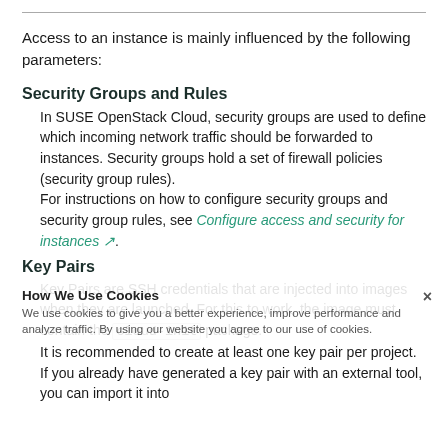Access to an instance is mainly influenced by the following parameters:
Security Groups and Rules
In SUSE OpenStack Cloud, security groups are used to define which incoming network traffic should be forwarded to instances. Security groups hold a set of firewall policies (security group rules).
For instructions on how to configure security groups and security group rules, see Configure access and security for instances ↗.
Key Pairs
Key Pairs are SSH credentials that are injected into images when they are launched. For this to work, the image must contain the cloud-init package.
It is recommended to create at least one key pair per project. If you already have generated a key pair with an external tool, you can import it into